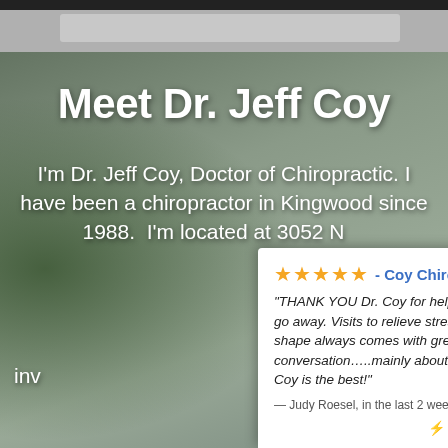Meet Dr. Jeff Coy
I'm Dr. Jeff Coy, Doctor of Chiropractic. I have been a chiropractor in Kingwood since 1988.  I'm located at 3052 N...
inv...
[Figure (screenshot): Review popup widget from Review Wave showing 5-star rating for Coy Chiropractic with a testimonial from Judy Roesel: 'THANK YOU Dr. Coy for helping my pain go away. Visits to relieve stress and stay in shape always comes with great conversation…..mainly about Disney. Dr. Coy is the best!' — Judy Roesel, in the last 2 weeks. Powered by Review Wave.]